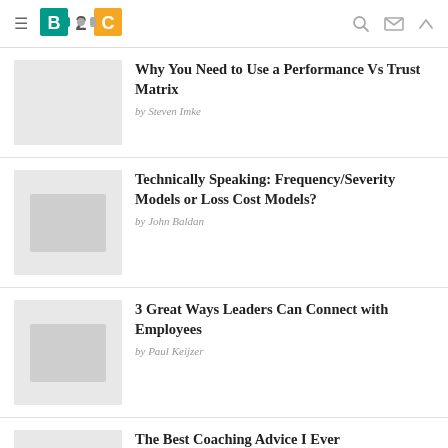B2C (logo) — navigation header with menu, search, mail, and scroll icons
Why You Need to Use a Performance Vs Trust Matrix
by Steven Imke
Technically Speaking: Frequency/Severity Models or Loss Cost Models?
by John Baldan
3 Great Ways Leaders Can Connect with Employees
by Paul Keijzer
The Best Coaching Advice I Ever